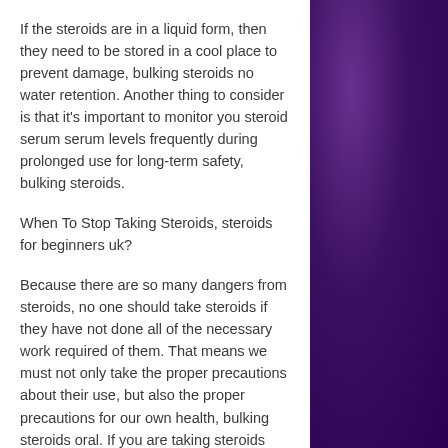If the steroids are in a liquid form, then they need to be stored in a cool place to prevent damage, bulking steroids no water retention. Another thing to consider is that it's important to monitor you steroid serum serum levels frequently during prolonged use for long-term safety, bulking steroids.
When To Stop Taking Steroids, steroids for beginners uk?
Because there are so many dangers from steroids, no one should take steroids if they have not done all of the necessary work required of them. That means we must not only take the proper precautions about their use, but also the proper precautions for our own health, bulking steroids oral. If you are taking steroids and still have high blood pressure, you should not be taking steroids.
[Figure (photo): Purple/violet textured fabric or yarn background filling the right side of the page]